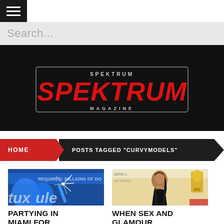☰ (hamburger menu)
Search...
[Figure (logo): Spektrum Magazine logo — bold red italic text SPEKTRUM with SPEKTRUM MAGAZINE in a rectangular badge on black background]
HOME  POSTS TAGGED "CURVYMODELS"
[Figure (photo): Party scene with blue decorations and sparkler, Fyyxotica event in Miami]
[Figure (photo): Woman in black dress at awards event, iama.com visible in background]
PARTYING IN MIAMI FOR FYYXOTICA
WHEN SEX AND GLAMOUR COLLIDE